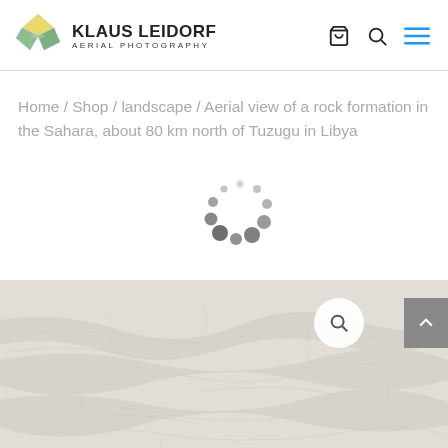KLAUS LEIDORF AERIAL PHOTOGRAPHY
Home / Shop / landscape / Aerial view of a rock formation in the Sahara, about 80 km north of Tuzugu in Libya
[Figure (other): Loading spinner (circular dots animation)]
[Figure (photo): Aerial photograph of a rock formation in the Sahara desert, showing pale sandy/rocky terrain with subtle undulations, taken from above.]